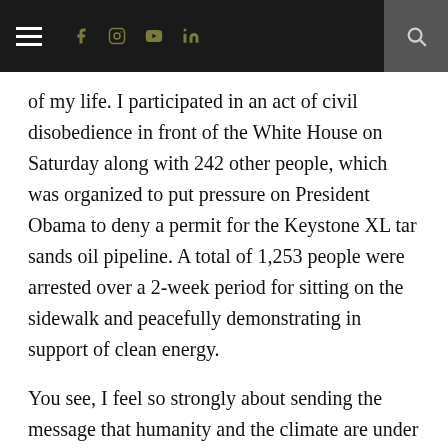Navigation bar with menu, social icons (Facebook, Instagram, YouTube, LinkedIn), and search
of my life. I participated in an act of civil disobedience in front of the White House on Saturday along with 242 other people, which was organized to put pressure on President Obama to deny a permit for the Keystone XL tar sands oil pipeline. A total of 1,253 people were arrested over a 2-week period for sitting on the sidewalk and peacefully demonstrating in support of clean energy.
You see, I feel so strongly about sending the message that humanity and the climate are under collective arrest by big oil and corporate interests that I'm willing to